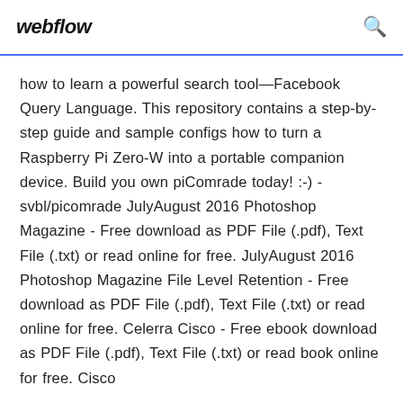webflow
how to learn a powerful search tool—Facebook Query Language. This repository contains a step-by-step guide and sample configs how to turn a Raspberry Pi Zero-W into a portable companion device. Build you own piComrade today! :-) - svbl/picomrade JulyAugust 2016 Photoshop Magazine - Free download as PDF File (.pdf), Text File (.txt) or read online for free. JulyAugust 2016 Photoshop Magazine File Level Retention - Free download as PDF File (.pdf), Text File (.txt) or read online for free. Celerra Cisco - Free ebook download as PDF File (.pdf), Text File (.txt) or read book online for free. Cisco